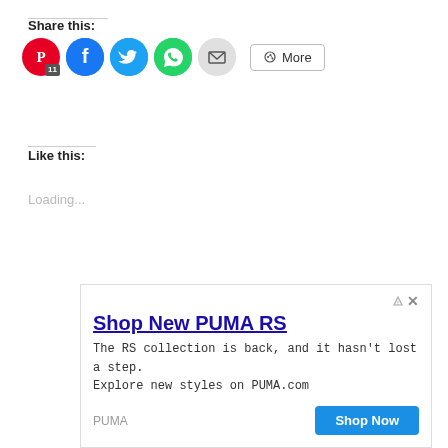Share this:
[Figure (infographic): Row of social sharing icon buttons: Pinterest (red circle, P icon, badge 11), Facebook (blue circle, f icon), Twitter (cyan circle, bird icon), WhatsApp (green circle, phone icon), Email (light gray circle, envelope icon), and a More button with share icon]
Like this:
Loading...
[Figure (infographic): Advertisement banner for PUMA RS. Headline: Shop New PUMA RS. Body: The RS collection is back, and it hasn't lost a step. Explore new styles on PUMA.com. Brand: PUMA. Button: Shop Now]